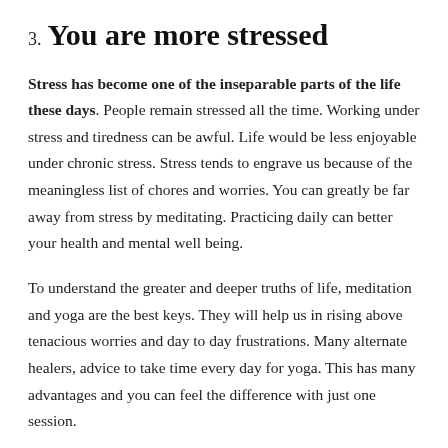3. You are more stressed
Stress has become one of the inseparable parts of the life these days. People remain stressed all the time. Working under stress and tiredness can be awful. Life would be less enjoyable under chronic stress. Stress tends to engrave us because of the meaningless list of chores and worries. You can greatly be far away from stress by meditating. Practicing daily can better your health and mental well being.
To understand the greater and deeper truths of life, meditation and yoga are the best keys. They will help us in rising above tenacious worries and day to day frustrations. Many alternate healers, advice to take time every day for yoga. This has many advantages and you can feel the difference with just one session.